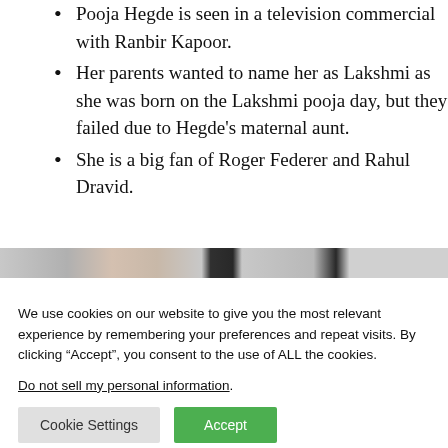Pooja Hegde is seen in a television commercial with Ranbir Kapoor.
Her parents wanted to name her as Lakshmi as she was born on the Lakshmi pooja day, but they failed due to Hegde's maternal aunt.
She is a big fan of Roger Federer and Rahul Dravid.
[Figure (photo): Partial image strip showing a cropped photo, partially visible at the bottom of the article content area.]
We use cookies on our website to give you the most relevant experience by remembering your preferences and repeat visits. By clicking “Accept”, you consent to the use of ALL the cookies.
Do not sell my personal information.
Cookie Settings  Accept